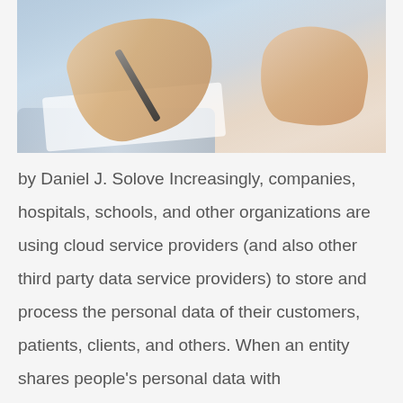[Figure (photo): Photo of hands writing/signing documents with a pen, with a tablet or notepad visible, light blue and warm skin-tone background]
by Daniel J. Solove Increasingly, companies, hospitals, schools, and other organizations are using cloud service providers (and also other third party data service providers) to store and process the personal data of their customers, patients, clients, and others. When an entity shares people's personal data with